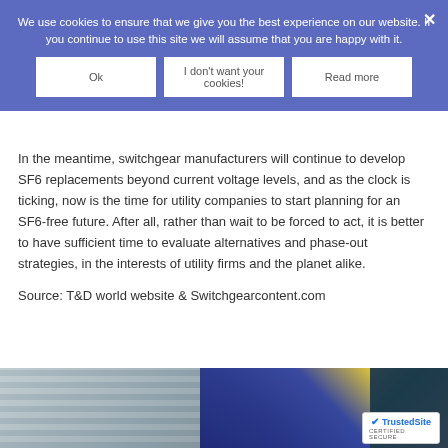SF6-free alternatives are less costly than switchgear containing SF6, policy intervention is likely to be needed to accelerate the transition.
[Figure (screenshot): Cookie consent banner overlay with blue background, text 'We use cookies to ensure that we give you the best experience on our website. If you continue to use this site we will assume that you are happy with it.' and three buttons: Ok, I don't want your cookies!, Read more. X close button top right.]
In the meantime, switchgear manufacturers will continue to develop SF6 replacements beyond current voltage levels, and as the clock is ticking, now is the time for utility companies to start planning for an SF6-free future. After all, rather than wait to be forced to act, it is better to have sufficient time to evaluate alternatives and phase-out strategies, in the interests of utility firms and the planet alike.
Source: T&D world website & Switchgearcontent.com
[Figure (photo): Bottom portion of a photograph showing a building exterior and what appears to be a flag or banner, partially visible. TrustedSite certified secure badge visible in lower right corner.]